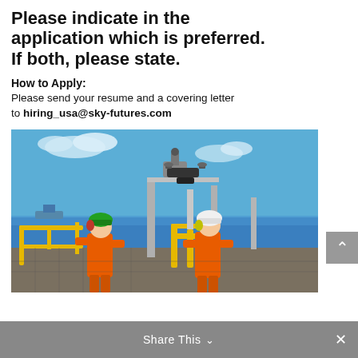Please indicate in the application which is preferred. If both, please state.
How to Apply:
Please send your resume and a covering letter to hiring_usa@sky-futures.com
[Figure (photo): Two workers in orange high-visibility suits and helmets (one green, one white) standing on an offshore oil platform deck with yellow railings and pipework; a drone flies above; blue ocean and sky in background.]
Share This ∨  ✕